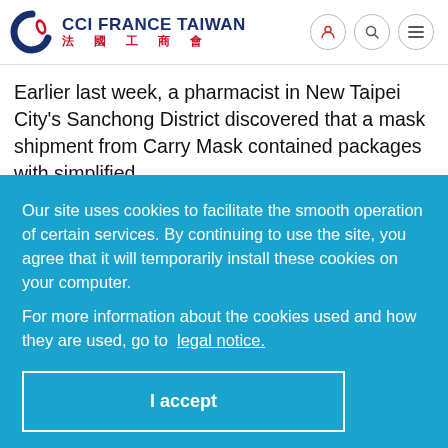CCI FRANCE TAIWAN 法國工商會
Earlier last week, a pharmacist in New Taipei City's Sanchong District discovered that a mask shipment from Carry Mask contained packages with simplified
Our site uses cookies to facilitate the smooth operation of certain services. By continuing to use the site, you agree that it will temporarily install these cookies on your computer.
For more information about the cookies used and how they are used, go to legal notice.
I accept
2020.08.31